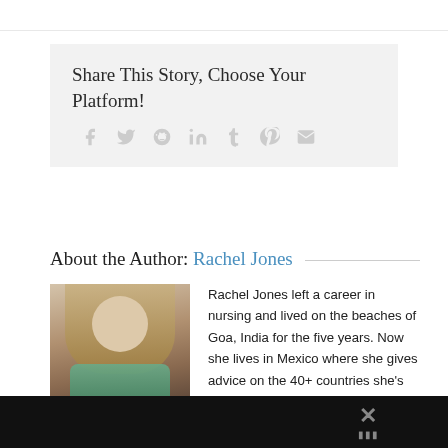Share This Story, Choose Your Platform!
[Figure (infographic): Social sharing icons: Facebook, Twitter, Reddit, LinkedIn, Tumblr, Pinterest, Email — all in light gray]
About the Author: Rachel Jones
[Figure (photo): Photo of Rachel Jones, a woman with long blonde hair, sitting on a beach or outdoors]
Rachel Jones left a career in nursing and lived on the beaches of Goa, India for the five years. Now she lives in Mexico where she gives advice on the 40+ countries she's visited in the last 10 years. She's the author of two